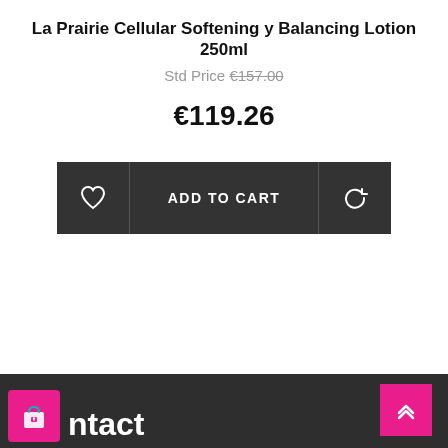La Prairie Cellular Softening y Balancing Lotion 250ml
Std Price €157.00
€119.26
[Figure (screenshot): E-commerce product action buttons: heart/wishlist icon, ADD TO CART button, and a refresh/compare icon, all on a dark grey background]
Contact (partial footer with logo icon and text 'ntact', scroll-to-top pink button with double chevron up)